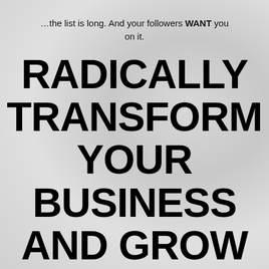…the list is long. And your followers WANT you on it.
RADICALLY TRANSFORM YOUR BUSINESS AND GROW YOUR CONNECTIONS!